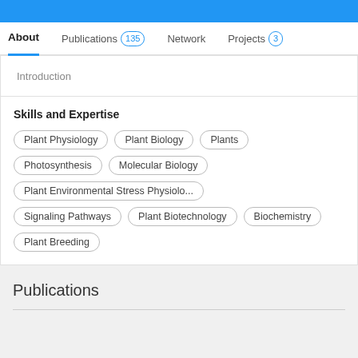[Figure (screenshot): Blue banner at top of profile page]
About   Publications 135   Network   Projects 3
Introduction
Skills and Expertise
Plant Physiology
Plant Biology
Plants
Photosynthesis
Molecular Biology
Plant Environmental Stress Physiolo...
Signaling Pathways
Plant Biotechnology
Biochemistry
Plant Breeding
Publications